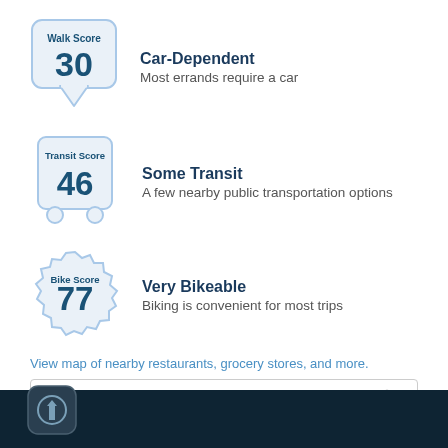[Figure (infographic): Walk Score badge showing speech bubble icon with 'Walk Score' label and score of 30]
Car-Dependent
Most errands require a car
[Figure (infographic): Transit Score badge showing bus icon with 'Transit Score' label and score of 46]
Some Transit
A few nearby public transportation options
[Figure (infographic): Bike Score badge showing gear/cog icon with 'Bike Score' label and score of 77]
Very Bikeable
Biking is convenient for most trips
View map of nearby restaurants, grocery stores, and more.
Get scores for your address